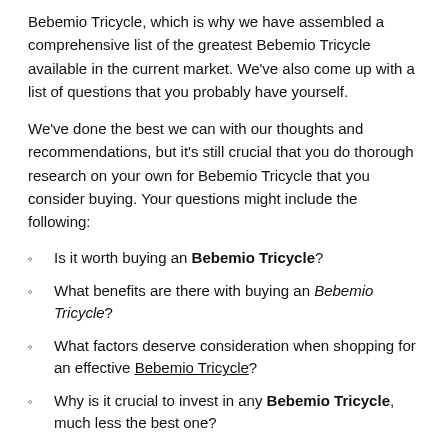Bebemio Tricycle, which is why we have assembled a comprehensive list of the greatest Bebemio Tricycle available in the current market. We've also come up with a list of questions that you probably have yourself.
We've done the best we can with our thoughts and recommendations, but it's still crucial that you do thorough research on your own for Bebemio Tricycle that you consider buying. Your questions might include the following:
Is it worth buying an Bebemio Tricycle?
What benefits are there with buying an Bebemio Tricycle?
What factors deserve consideration when shopping for an effective Bebemio Tricycle?
Why is it crucial to invest in any Bebemio Tricycle, much less the best one?